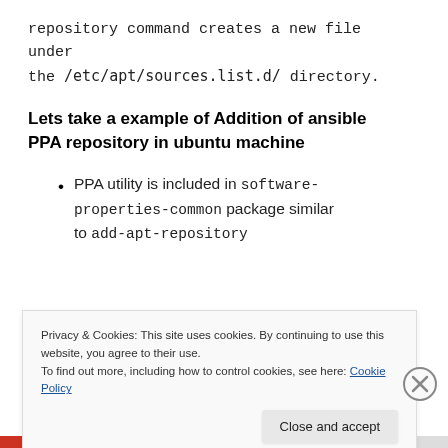repository command creates a new file under the /etc/apt/sources.list.d/ directory.
Lets take a example of Addition of ansible PPA repository in ubuntu machine
PPA utility is included in software-properties-common package similar to add-apt-repository
Privacy & Cookies: This site uses cookies. By continuing to use this website, you agree to their use.
To find out more, including how to control cookies, see here: Cookie Policy